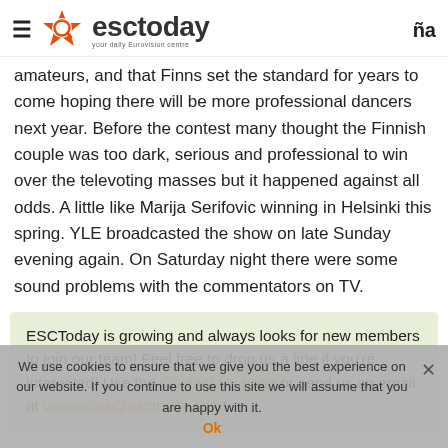esctoday — your daily Eurovision centre
amateurs, and that Finns set the standard for years to come hoping there will be more professional dancers next year. Before the contest many thought the Finnish couple was too dark, serious and professional to win over the televoting masses but it happened against all odds. A little like Marija Serifovic winning in Helsinki this spring. YLE broadcasted the show on late Sunday evening again. On Saturday night there were some sound problems with the commentators on TV.
ESCToday is growing and always looks for new members to join our team! Feel free to drop us a line if you're interested! Use the Contact Us page or send us an email at vacancies@esctoday.com!
We use cookies to ensure that we give you the best experience on our website. If you continue to use this site we will assume that you are happy with it. Ok